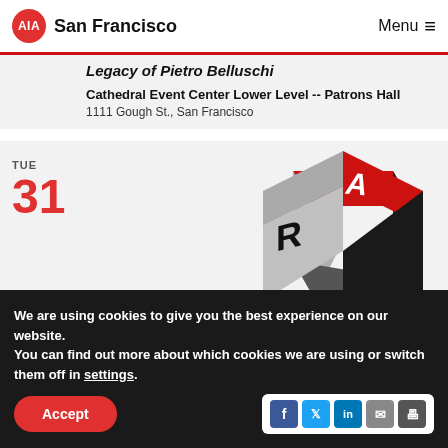AIA San Francisco  Menu
Legacy of Pietro Belluschi
Cathedral Event Center Lower Level -- Patrons Hall
1111 Gough St., San Francisco
TUE
31
[Figure (logo): ARE exam prep 3D cube logo with letters A, R, E on three faces in red, gray, and black]
We are using cookies to give you the best experience on our website.
You can find out more about which cookies we are using or switch them off in settings.
Accept